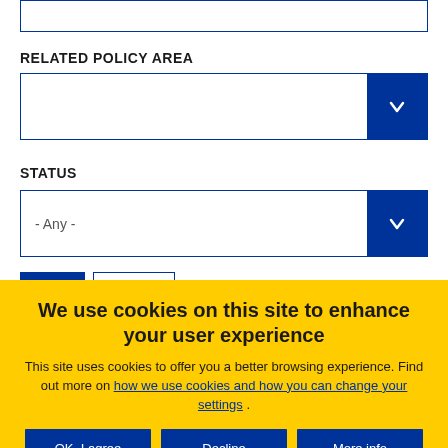RELATED POLICY AREA
STATUS
- Any -
We use cookies on this site to enhance your user experience
This site uses cookies to offer you a better browsing experience. Find out more on how we use cookies and how you can change your settings .
OK, I agree
Decline
More info